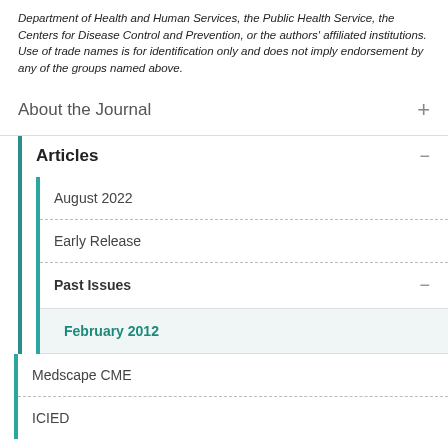Department of Health and Human Services, the Public Health Service, the Centers for Disease Control and Prevention, or the authors' affiliated institutions. Use of trade names is for identification only and does not imply endorsement by any of the groups named above.
About the Journal
Articles
August 2022
Early Release
Past Issues
February 2012
Medscape CME
ICIED